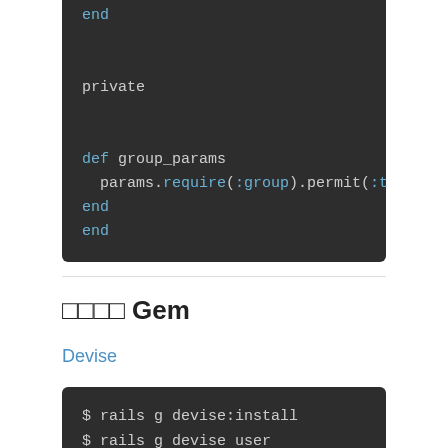[Figure (screenshot): Dark-themed code block showing Ruby code: end, private, def group_params, params.require(:group).permit(:t, end, end]
□□□□ Gem
Devise
[Figure (screenshot): Dark-themed terminal code block showing: $ rails g devise:install, $ rails g devise user, $ ...]